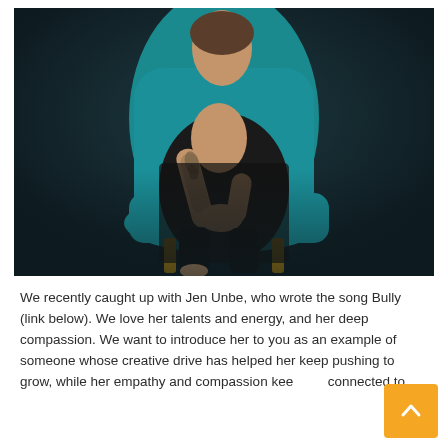[Figure (photo): A person with tattoos on their arm sitting in a teal/turquoise chair against a dark background, wearing a black lace outfit.]
We recently caught up with Jen Unbe, who wrote the song Bully (link below). We love her talents and energy, and her deep compassion. We want to introduce her to you as an example of someone whose creative drive has helped her keep pushing to grow, while her empathy and compassion keep her connected to ...